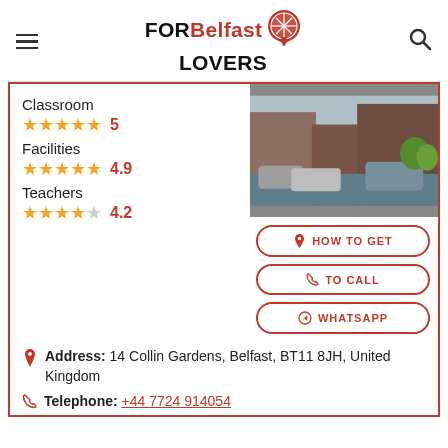FOR Belfast LOVERS
Classroom
5
Facilities
4.9
Teachers
4.2
[Figure (photo): Street view photo of a building with parked cars in Belfast]
HOW TO GET
TO CALL
WHATSAPP
Address: 14 Collin Gardens, Belfast, BT11 8JH, United Kingdom
Telephone: +44 7724 914054